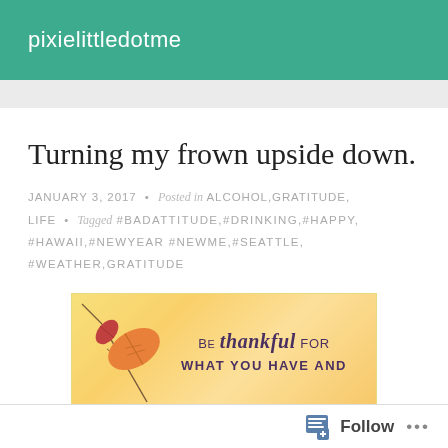pixielittledotme
Turning my frown upside down.
JANUARY 3, 2017 • Posted in ALCOHOL,GRATITUDE, LIFE • Tagged #BADATTITUDE,#DRINKING,#HAPPY, #HAWAII,#NEWYEAR #NEWME,#SEATTLE, #WEATHER,GRATITUDE
[Figure (photo): Inspirational image with autumn leaves and text reading 'Be thankful for what you have and']
Follow ...